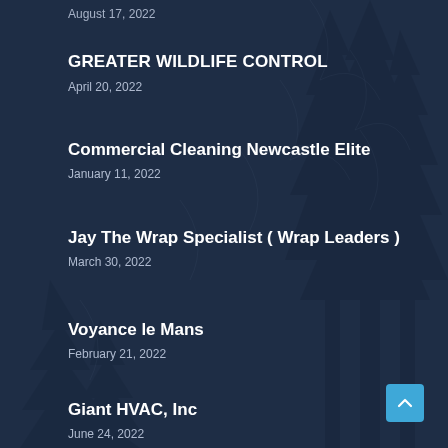August 17, 2022
GREATER WILDLIFE CONTROL
April 20, 2022
Commercial Cleaning Newcastle Elite
January 11, 2022
Jay The Wrap Specialist ( Wrap Leaders )
March 30, 2022
Voyance le Mans
February 21, 2022
Giant HVAC, Inc
June 24, 2022